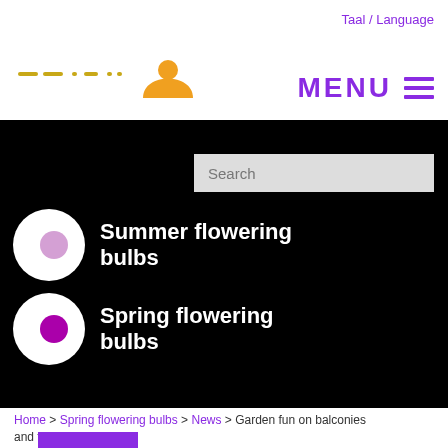Taal / Language
[Figure (logo): Website logo with yellow dashes and orange arch symbol, plus MENU text with purple hamburger icon]
[Figure (screenshot): Black navigation section with Search input box and two menu items: Summer flowering bulbs and Spring flowering bulbs, each with a bulb icon]
Summer flowering bulbs
Spring flowering bulbs
Home > Spring flowering bulbs > News > Garden fun on balconies and terraces
[Figure (illustration): Purple/magenta rectangular box at bottom]